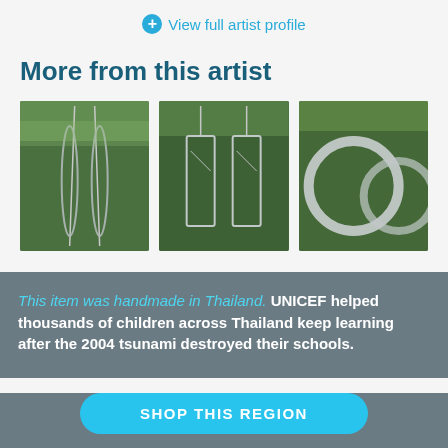View full artist profile
More from this artist
[Figure (photo): Three product photos of silver earrings hanging on natural branches against a green background]
This item was handmade in Thailand. UNICEF helped thousands of children across Thailand keep learning after the 2004 tsunami destroyed their schools.
SHOP THIS REGION